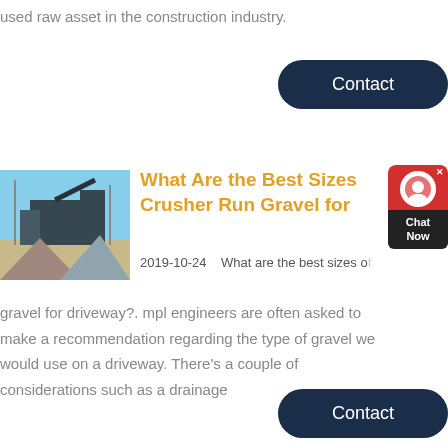used raw asset in the construction industry.
Contact
[Figure (photo): Industrial crusher/gravel processing equipment at an outdoor facility with blue sky]
What Are the Best Sizes Crusher Run Gravel for
2019-10-24    What are the best sizes of gravel for driveway?. mpl engineers are often asked to make a recommendation regarding the type of gravel we would use on a driveway. There's a couple of considerations such as a drainage
Contact